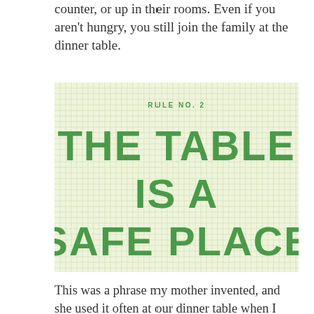counter, or up in their rooms. Even if you aren't hungry, you still join the family at the dinner table.
[Figure (infographic): Green graph-paper background with large bold green text reading 'THE TABLE IS A SAFE PLACE' and subtitle 'RULE NO. 2' above it]
This was a phrase my mother invented, and she used it often at our dinner table when I was growing up. Dinner time is sacred, and only nice things are said at the table. You may want to remind your son to clean up